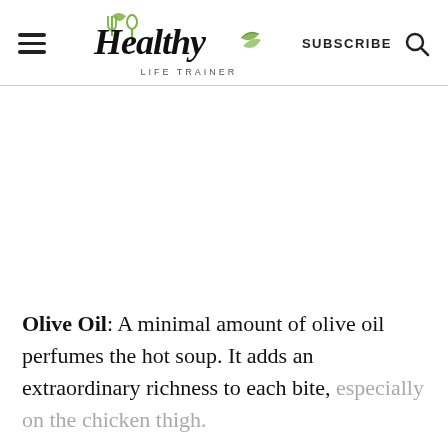Healthy Life Trainer | SUBSCRIBE
Olive Oil: A minimal amount of olive oil perfumes the hot soup. It adds an extraordinary richness to each bite, especially on the chicken thigh.